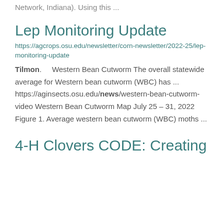Network, Indiana). Using this ...
Lep Monitoring Update
https://agcrops.osu.edu/newsletter/corn-newsletter/2022-25/lep-monitoring-update
Tilmon.     Western Bean Cutworm The overall statewide average for Western bean cutworm (WBC) has ... https://aginsects.osu.edu/news/western-bean-cutworm-video Western Bean Cutworm Map July 25 – 31, 2022 Figure 1. Average western bean cutworm (WBC) moths ...
4-H Clovers CODE: Creating